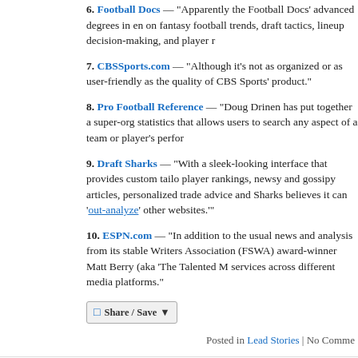6. Football Docs — "Apparently the Football Docs' advanced degrees in en on fantasy football trends, draft tactics, lineup decision-making, and player r
7. CBSSports.com — "Although it's not as organized or as user-friendly as the quality of CBS Sports' product."
8. Pro Football Reference — "Doug Drinen has put together a super-org statistics that allows users to search any aspect of a team or player's perfor
9. Draft Sharks — "With a sleek-looking interface that provides custom tailo player rankings, newsy and gossipy articles, personalized trade advice and Sharks believes it can 'out-analyze' other websites.'"
10. ESPN.com — "In addition to the usual news and analysis from its stable Writers Association (FSWA) award-winner Matt Berry (aka 'The Talented M services across different media platforms."
[Figure (other): Share/Save button widget]
Posted in Lead Stories | No Comme
The Paths Behind the FSWA Hall Finalists
Saturday, August 28th, 2010
The FSWA announced earlier this week the first-ever set of finalists for its published some of the reasons that those 14 men were selected.